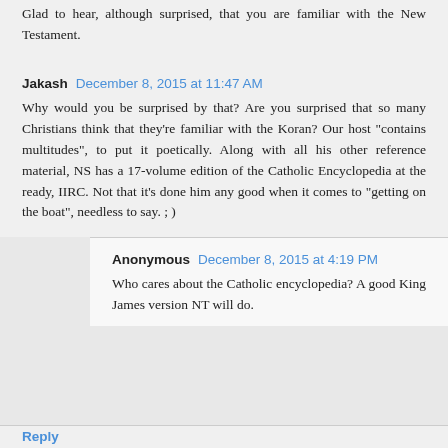Glad to hear, although surprised, that you are familiar with the New Testament.
Jakash  December 8, 2015 at 11:47 AM
Why would you be surprised by that? Are you surprised that so many Christians think that they're familiar with the Koran? Our host "contains multitudes", to put it poetically. Along with all his other reference material, NS has a 17-volume edition of the Catholic Encyclopedia at the ready, IIRC. Not that it's done him any good when it comes to "getting on the boat", needless to say. ; )
Anonymous  December 8, 2015 at 4:19 PM
Who cares about the Catholic encyclopedia? A good King James version NT will do.